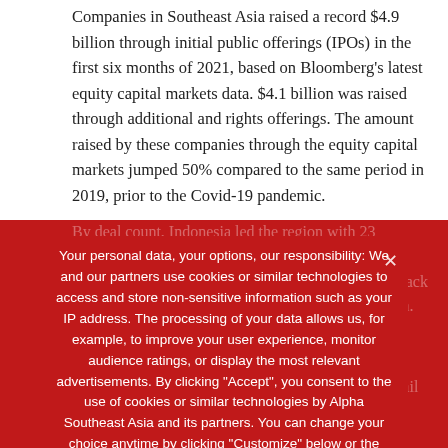Companies in Southeast Asia raised a record $4.9 billion through initial public offerings (IPOs) in the first six months of 2021, based on Bloomberg's latest equity capital markets data. $4.1 billion was raised through additional and rights offerings. The amount raised by these companies through the equity capital markets jumped 50% compared to the same period in 2019, prior to the Covid-19 pandemic.
By deal count, Indonesia led the region with 23 companies listing shares on the Indonesia Stock Exchange in the first half of 2021. Indonesia is on track for a record year, with the biggest deal...
Your personal data, your options, our responsibility: We and our partners use cookies or similar technologies to access and store non-sensitive information such as your IP address. The processing of your data allows us, for example, to improve your user experience, monitor audience ratings, or display the most relevant advertisements. By clicking "Accept", you consent to the use of cookies or similar technologies by Alpha Southeast Asia and its partners. You can change your choice anytime by clicking "Customize" below or the "Preference Center" link available in the main menu.
$2.8 billion, fuelled by the listing of PTT Oil & Retail Business PCL and microfinance lender Ngernturbo PCL. The